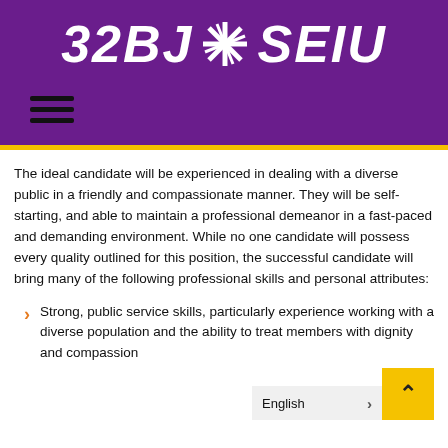[Figure (logo): 32BJ SEIU union logo in white italic bold font on purple background]
The ideal candidate will be experienced in dealing with a diverse public in a friendly and compassionate manner. They will be self-starting, and able to maintain a professional demeanor in a fast-paced and demanding environment. While no one candidate will possess every quality outlined for this position, the successful candidate will bring many of the following professional skills and personal attributes:
Strong, public service skills, particularly experience working with a diverse population and the ability to treat members with dignity and compassion